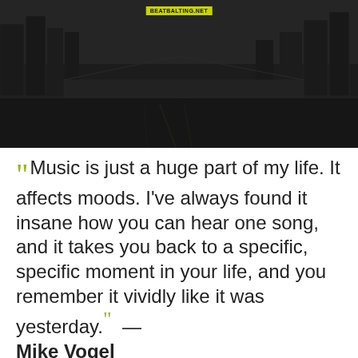[Figure (photo): Dark cityscape with river at night, watermark text 'BEATBALTING.NET' at top center]
“ Music is just a huge part of my life. It affects moods. I've always found it insane how you can hear one song, and it takes you back to a specific, specific moment in your life, and you remember it vividly like it was yesterday. ” — Mike Vogel
[Figure (photo): Dark blurred bokeh background with yellow-green text overlay repeating the quote about music]